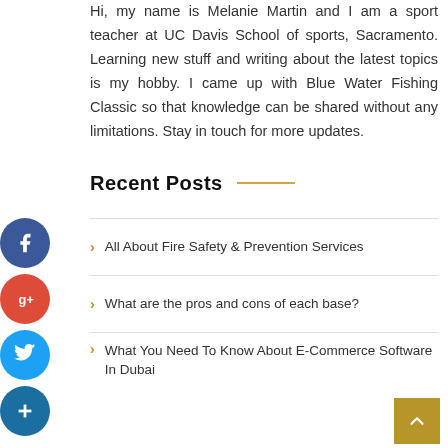Hi, my name is Melanie Martin and I am a sport teacher at UC Davis School of sports, Sacramento. Learning new stuff and writing about the latest topics is my hobby. I came up with Blue Water Fishing Classic so that knowledge can be shared without any limitations. Stay in touch for more updates.
Recent Posts
All About Fire Safety & Prevention Services
What are the pros and cons of each base?
What You Need To Know About E-Commerce Software In Dubai